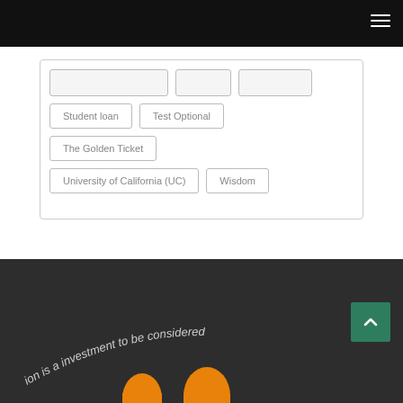Student loan
Test Optional
The Golden Ticket
University of California (UC)
Wisdom
[Figure (logo): Footer with curved text reading 'ion is a investment to be considered' and orange figures/graphic at bottom, dark background]
ion is a investment to be considered